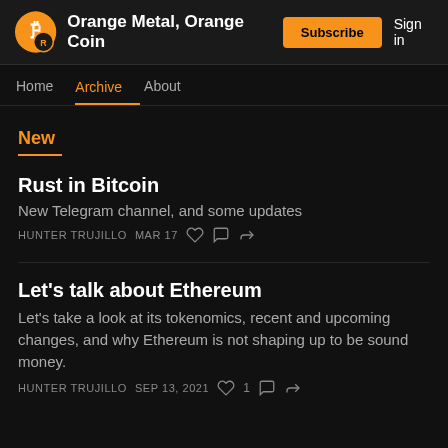Orange Metal, Orange Coin
New
Rust in Bitcoin
New Telegram channel, and some updates
HUNTER TRUJILLO   MAR 17
Let's talk about Ethereum
Let's take a look at its tokenomics, recent and upcoming changes, and why Ethereum is not shaping up to be sound money.
HUNTER TRUJILLO   SEP 13, 2021   1